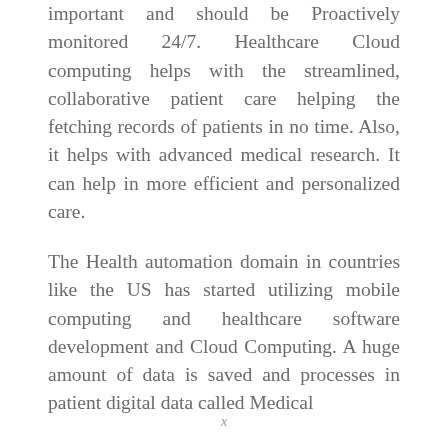important and should be Proactively monitored 24/7. Healthcare Cloud computing helps with the streamlined, collaborative patient care helping the fetching records of patients in no time. Also, it helps with advanced medical research. It can help in more efficient and personalized care.
The Health automation domain in countries like the US has started utilizing mobile computing and healthcare software development and Cloud Computing. A huge amount of data is saved and processes in patient digital data called Medical
x